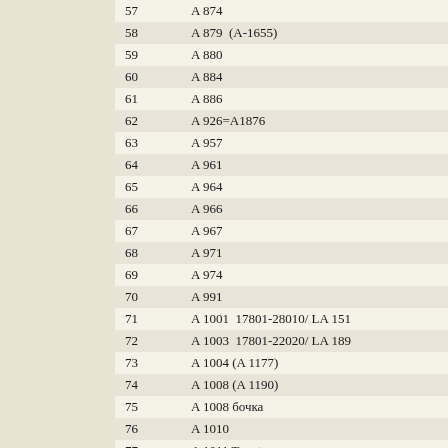| # | Code |
| --- | --- |
| 57 | A 874 |
| 58 | A 879  (A-1655) |
| 59 | A 880 |
| 60 | A 884 |
| 61 | A 886 |
| 62 | A 926=A1876 |
| 63 | A 957 |
| 64 | A 961 |
| 65 | A 964 |
| 66 | A 966 |
| 67 | A 967 |
| 68 | A 971 |
| 69 | A 974 |
| 70 | A 991 |
| 71 | A 1001  17801-28010/ LA 151 |
| 72 | A 1003  17801-22020/ LA 189 |
| 73 | A 1004 (A 1177) |
| 74 | A 1008 (A 1190) |
| 75 | A 1008 бочка |
| 76 | A 1010 |
| 77 | A 1011 Toyota |